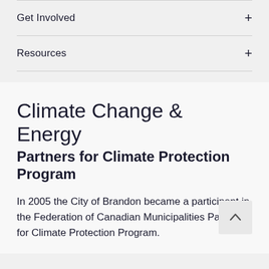Get Involved
Resources
Climate Change & Energy
Partners for Climate Protection Program
In 2005 the City of Brandon became a participant in the Federation of Canadian Municipalities Partners for Climate Protection Program.